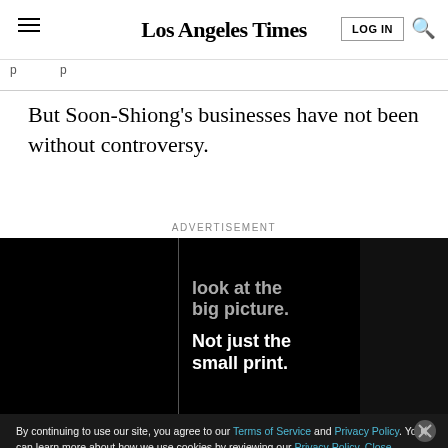Los Angeles Times
But Soon-Shiong's businesses have not been without controversy.
ADVERTISEMENT
[Figure (screenshot): Dark advertisement image with text 'look at the big picture. Not just the small print.' on black background]
By continuing to use our site, you agree to our Terms of Service and Privacy Policy. You can learn more about how we use cookies by reviewing our Privacy Policy. Close